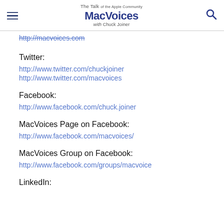The Talk of the Apple Community MacVoices with Chuck Joiner
http://macvoices.com
Twitter:
http://www.twitter.com/chuckjoiner
http://www.twitter.com/macvoices
Facebook:
http://www.facebook.com/chuck.joiner
MacVoices Page on Facebook:
http://www.facebook.com/macvoices/
MacVoices Group on Facebook:
http://www.facebook.com/groups/macvoice
LinkedIn: